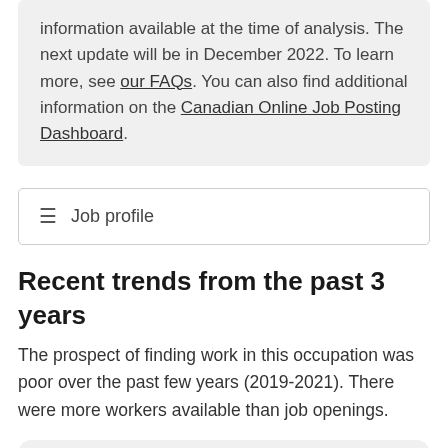information available at the time of analysis. The next update will be in December 2022. To learn more, see our FAQs. You can also find additional information on the Canadian Online Job Posting Dashboard.
Job profile
Recent trends from the past 3 years
The prospect of finding work in this occupation was poor over the past few years (2019-2021). There were more workers available than job openings.
Source Labour Market Information | Recent Trends Assessment Methodology